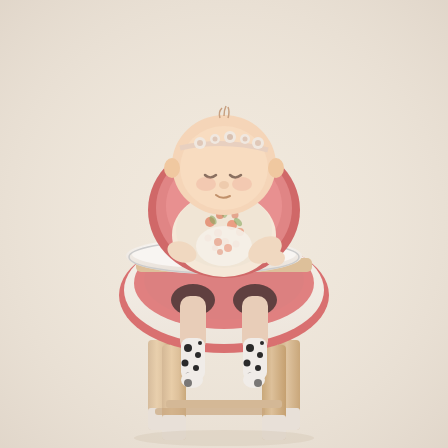[Figure (photo): A baby sitting in a modern wooden high chair with a pink seat and white tray. The baby is wearing a floral outfit and a floral headband, looking down. The baby's legs dangle through openings in the chair seat, dressed in dalmatian-print socks/tights. The high chair has natural wood legs with white plastic feet. The background is a warm beige/cream studio backdrop.]